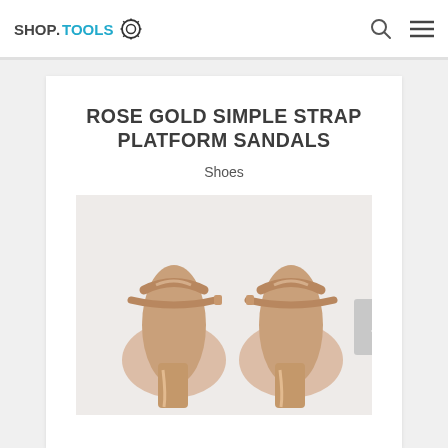SHOP.TOOLS
ROSE GOLD SIMPLE STRAP PLATFORM SANDALS
Shoes
[Figure (photo): Top-down view of two rose gold simple strap platform sandals with ankle straps on a light background]